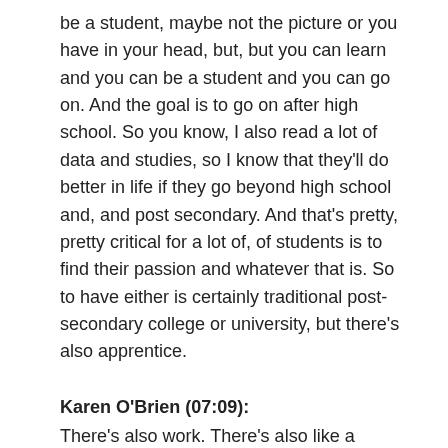be a student, maybe not the picture or you have in your head, but, but you can learn and you can be a student and you can go on. And the goal is to go on after high school. So you know, I also read a lot of data and studies, so I know that they'll do better in life if they go beyond high school and, and post secondary. And that's pretty, pretty critical for a lot of, of students is to find their passion and whatever that is. So to have either is certainly traditional post-secondary college or university, but there's also apprentice.
Karen O'Brien (07:09):
There's also work. There's also like a dream, a passion. So, so having a plan beyond high school, getting the diplomas a huge win, but it's, what's the next step. So I always say, I don't wanna just get you out of high school. I want to get you into something yeah. Beyond high school. And that's my goal with them. So I work with